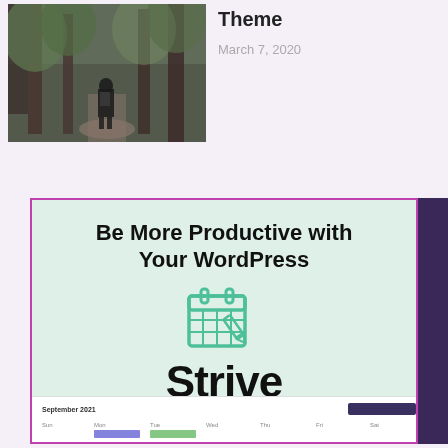[Figure (photo): Person with backpack walking on a forest trail among trees]
Theme
March 7, 2020
[Figure (infographic): Strive Content Calendar promotional banner with mint green background, bold headline 'Be More Productive with Your WordPress', a calendar icon in mint/teal, the word 'Strive' in large bold black text, 'CONTENT CALENDAR' in teal letterspaced text below, and a screenshot of a September 2021 calendar at the bottom.]